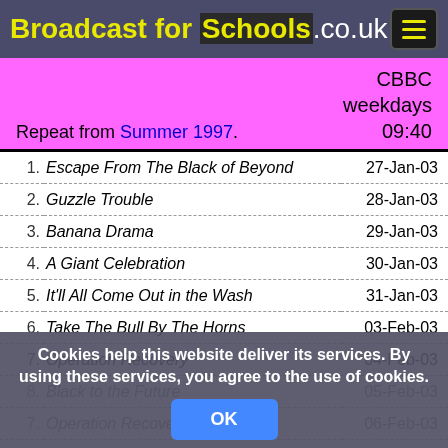Broadcast for Schools.co.uk
CBBC weekdays 09:40
Repeat from Summer 1997.
| # | Episode Title | Date |
| --- | --- | --- |
| 1. | Escape From The Black of Beyond | 27-Jan-03 |
| 2. | Guzzle Trouble | 28-Jan-03 |
| 3. | Banana Drama | 29-Jan-03 |
| 4. | A Giant Celebration | 30-Jan-03 |
| 5. | It'll All Come Out in the Wash | 31-Jan-03 |
| 6. | Take The Bull By The Horns | 03-Feb-03 |
| 7. | Operation Recovery | 04-Feb-03 |
| 8. | Black to the Future | 05-Feb-03 |
| 7. | Operation Recovery (repeat) | 06-Feb-03 |
| 8. | Black to the Future (repeat) | 07-Feb-03 |
Cookies help this website deliver its services. By using these services, you agree to the use of cookies.
OK
Spelling with t...